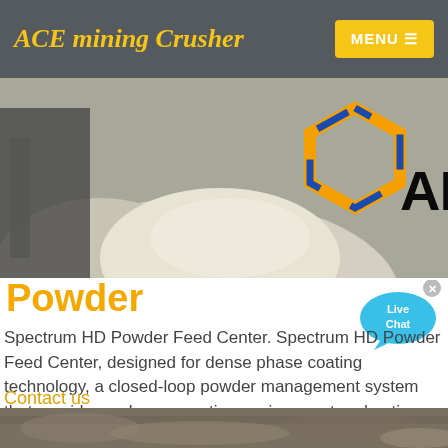ACE mining Crusher
[Figure (screenshot): Website header with AMC logo showing hexagonal orange and blue icon with text AMC on a mining/quarry background image]
Powder
[Figure (infographic): Live Chat speech bubble icon in blue/cyan with text 'Live Chat' and a close X button]
Spectrum HD Powder Feed Center. Spectrum HD Powder Feed Center, designed for dense phase coating technology, a closed-loop powder management system that provides a clean operating environment and optimum powder handling conditions,...
Contact us
[Figure (photo): Rocky quarry terrain photo at the bottom of the page]